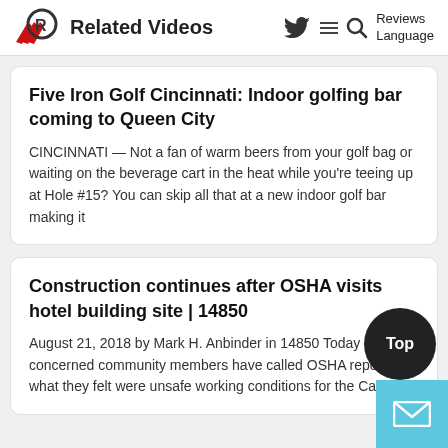Related Videos | Reviews | Language
Five Iron Golf Cincinnati: Indoor golfing bar coming to Queen City
CINCINNATI — Not a fan of warm beers from your golf bag or waiting on the beverage cart in the heat while you're teeing up at Hole #15? You can skip all that at a new indoor golf bar making it
Construction continues after OSHA visits hotel building site | 14850
August 21, 2018 by Mark H. Anbinder in 14850 Today Multiple concerned community members have called OSHA report what they felt were unsafe working conditions for the Canopy